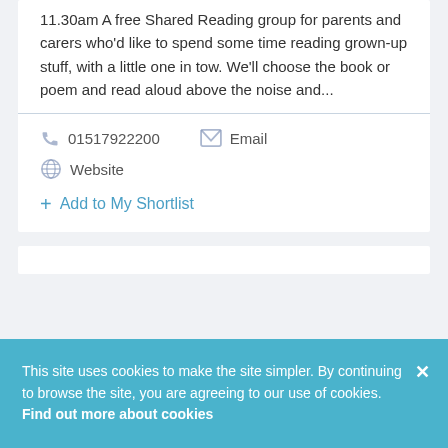11.30am A free Shared Reading group for parents and carers who'd like to spend some time reading grown-up stuff, with a little one in tow. We'll choose the book or poem and read aloud above the noise and...
01517922200
Email
Website
Add to My Shortlist
This site uses cookies to make the site simpler. By continuing to browse the site, you are agreeing to our use of cookies. Find out more about cookies